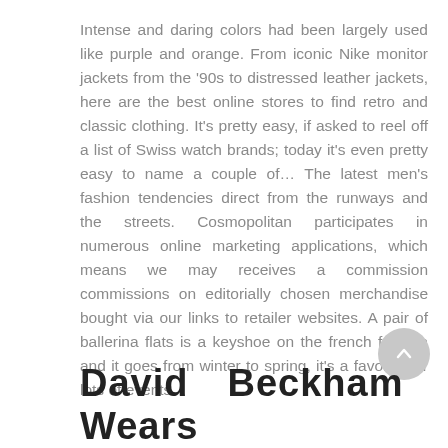Intense and daring colors had been largely used like purple and orange. From iconic Nike monitor jackets from the '90s to distressed leather jackets, here are the best online stores to find retro and classic clothing. It's pretty easy, if asked to reel off a list of Swiss watch brands; today it's even pretty easy to name a couple of… The latest men's fashion tendencies direct from the runways and the streets. Cosmopolitan participates in numerous online marketing applications, which means we may receives a commission commissions on editorially chosen merchandise bought via our links to retailer websites. A pair of ballerina flats is a keyshoe on the french fashion and it goes from winter to spring, it's a favorite for lots of events.
David Beckham Wears